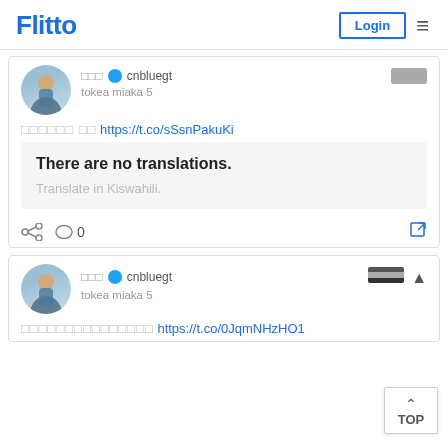Flitto  Login  ☰
□□□ cnbluegt tokea miaka 5
□□□□□□ □□ https://t.co/sSsnPakuKi
There are no translations.
Translate in Kiswahili.
0
□□□ cnbluegt tokea miaka 5
□□□□□□□□□□□□□□□ https://t.co/0JqmNHzHO1